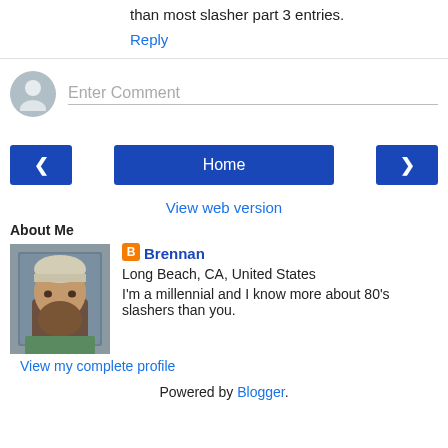than most slasher part 3 entries.
Reply
Enter Comment
[Figure (other): Navigation bar with left arrow button, Home button, and right arrow button]
View web version
About Me
[Figure (photo): Profile photo of Brennan, a young man with a beard wearing a beanie and green shirt]
Brennan
Long Beach, CA, United States
I'm a millennial and I know more about 80's slashers than you.
View my complete profile
Powered by Blogger.